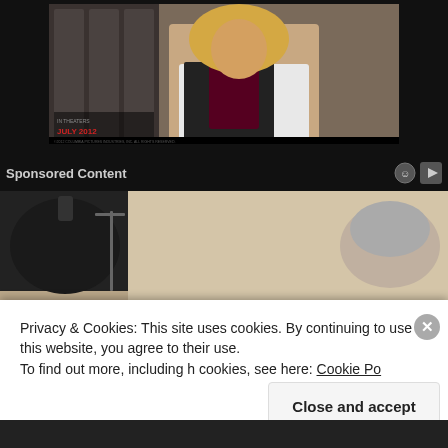[Figure (photo): Movie promotional image showing a young blonde woman in a school hallway holding a dark binder, with text reading 'IN THEATERS JULY 2012' visible at the bottom left]
Sponsored Content
[Figure (photo): Image showing an older person with gray hair bending over, with a black bag visible on the left]
Privacy & Cookies: This site uses cookies. By continuing to use this website, you agree to their use.
To find out more, including h cookies, see here: Cookie Po
Close and accept